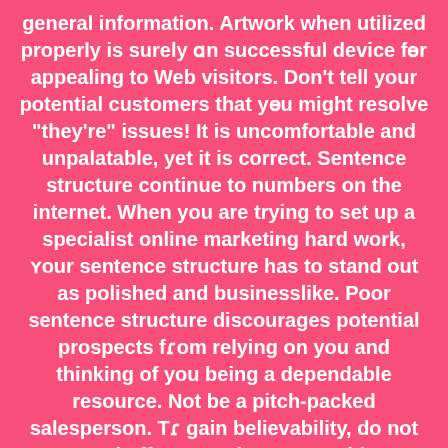general information. Artwork when utilized properly is surely an successful device for appealing to Web visitors. Don't tell your potential customers that you might resolve "they're" issues! It is uncomfortable and unpalatable, yet it is correct. Sentence structure continue to numbers on the internet. When you are trying to set up a specialist online marketing hard work, your sentence structure has to stand out as polished and businesslike. Poor sentence structure discourages potential prospects from relying on you and thinking of you being a dependable resource. Not be a pitch-packed salesperson. To gain believability, do not try and offer your viewers anything. Basically write the articles you write to the best of what you can do, and let your viewer to make a decision should they should purchase anything based on that. Hand out freebies, both info or item-wise, to show prospective customers that you desire them regardless of whether they don't purchase anything at all. Stay away from the saying "acquire" or "acquire". Instead, use the phrase "commit" more often. This may cause your clients